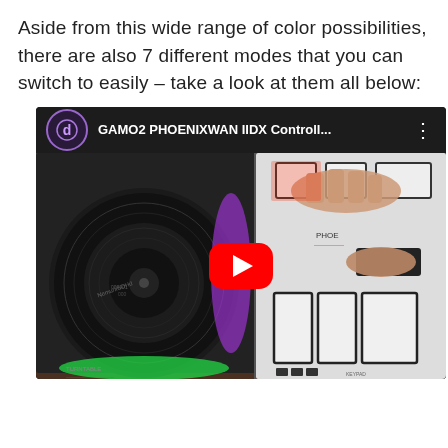Aside from this wide range of color possibilities, there are also 7 different modes that you can switch to easily – take a look at them all below:
[Figure (screenshot): YouTube video thumbnail showing a GAMO2 PHOENIXWAN IIDX Controller with a turntable and buttons, with a red YouTube play button overlay. Video title reads 'GAMO2 PHOENIXWAN IIDX Controll...']